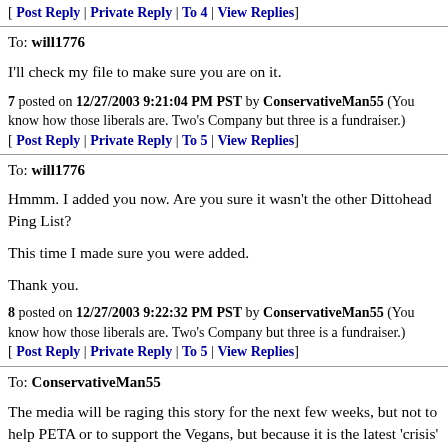[ Post Reply | Private Reply | To 4 | View Replies]
To: will1776
I'll check my file to make sure you are on it.
7 posted on 12/27/2003 9:21:04 PM PST by ConservativeMan55 (You know how those liberals are. Two's Company but three is a fundraiser.)
[ Post Reply | Private Reply | To 5 | View Replies]
To: will1776
Hmmm. I added you now. Are you sure it wasn't the other Dittohead Ping List?

This time I made sure you were added.

Thank you.
8 posted on 12/27/2003 9:22:32 PM PST by ConservativeMan55 (You know how those liberals are. Two's Company but three is a fundraiser.)
[ Post Reply | Private Reply | To 5 | View Replies]
To: ConservativeMan55
The media will be raging this story for the next few weeks, but not to help PETA or to support the Vegans, but because it is the latest 'crisis' that they can pounce on.